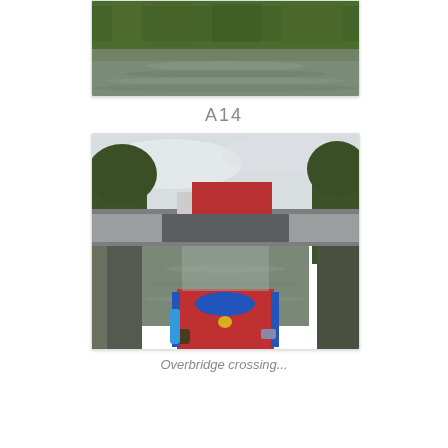[Figure (photo): A canal with green reed bank in the background and rippling water in the foreground, viewed from water level.]
A14
[Figure (photo): View from the bow of a red narrowboat on a canal, approaching a road bridge with a red lorry/truck crossing over it, surrounded by trees on both sides.]
Overbridge crossing...